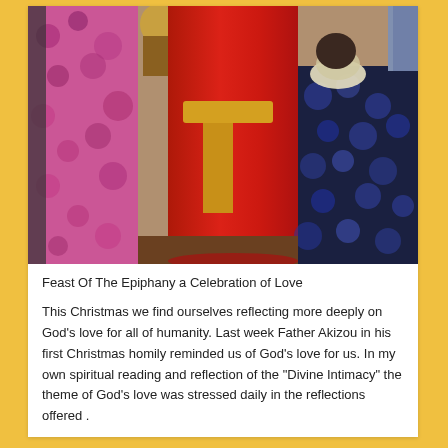[Figure (illustration): Painting of a woman in a long red dress holding a child, surrounded by figures in colorful patterned clothing. Religious/African art style depicting the Epiphany or nativity scene.]
Feast Of The Epiphany a Celebration of Love
This Christmas we find ourselves reflecting more deeply on God's love for all of humanity. Last week Father Akizou in his first Christmas homily reminded us of God's love for us. In my own spiritual reading and reflection of the "Divine Intimacy" the theme of God's love was stressed daily in the reflections offered .